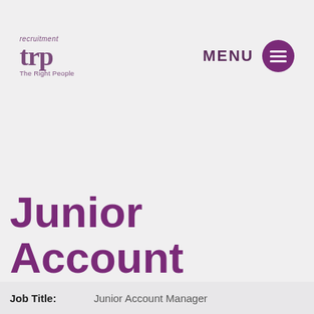[Figure (logo): TRP Recruitment – The Right People logo with purple stylized text]
MENU
Junior Account Manager
Job Title: Junior Account Manager